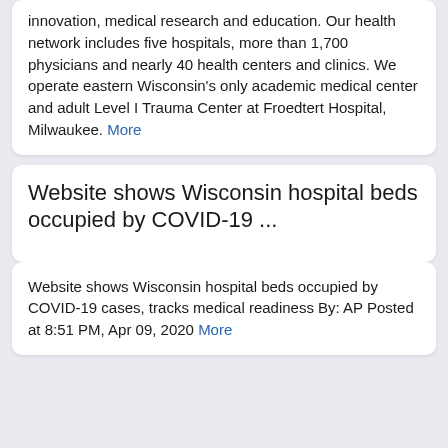innovation, medical research and education. Our health network includes five hospitals, more than 1,700 physicians and nearly 40 health centers and clinics. We operate eastern Wisconsin's only academic medical center and adult Level I Trauma Center at Froedtert Hospital, Milwaukee. More
Website shows Wisconsin hospital beds occupied by COVID-19 ...
Website shows Wisconsin hospital beds occupied by COVID-19 cases, tracks medical readiness By: AP Posted at 8:51 PM, Apr 09, 2020 More